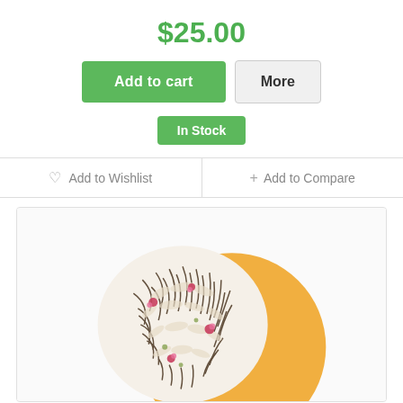$25.00
Add to cart
More
In Stock
♡ Add to Wishlist
+ Add to Compare
[Figure (photo): Product image showing loose leaf tea with dried flowers arranged in a circular pattern against a yellow/orange circular background, on a white surface inside a light grey bordered box.]